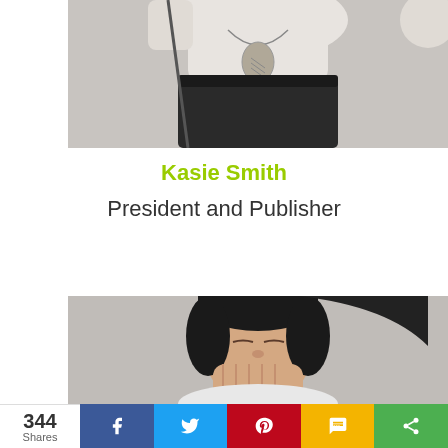[Figure (photo): Partial photo of a person in a white shirt and black pants holding a golf club, cropped at torso level]
Kasie Smith
President and Publisher
[Figure (photo): Photo of a woman with black hair laughing/smiling, hands near face, cropped at head and shoulders]
344 Shares